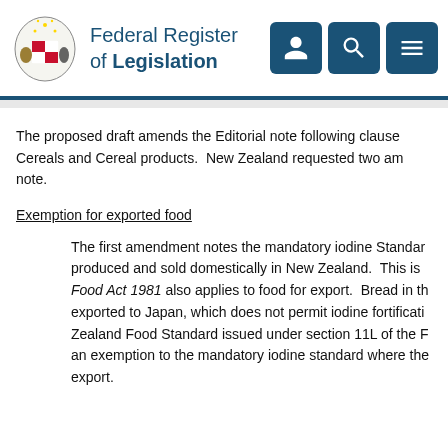Federal Register of Legislation
The proposed draft amends the Editorial note following clause Cereals and Cereal products.  New Zealand requested two am note.
Exemption for exported food
The first amendment notes the mandatory iodine Standard produced and sold domestically in New Zealand.  This is Food Act 1981 also applies to food for export.  Bread in th exported to Japan, which does not permit iodine fortificati Zealand Food Standard issued under section 11L of the F an exemption to the mandatory iodine standard where the export.